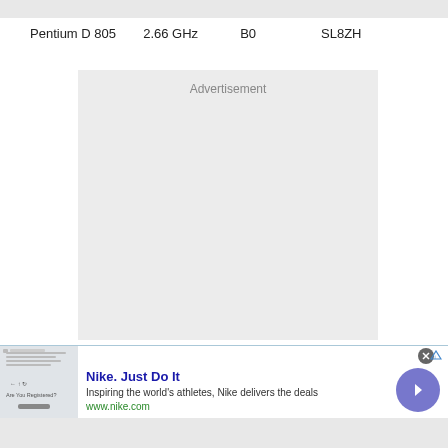| Model | Speed | Code | Part |
| --- | --- | --- | --- |
| Pentium D 805 | 2.66 GHz | B0 | SL8ZH |
[Figure (other): Advertisement placeholder box with light gray background]
[Figure (other): Nike advertisement banner with thumbnail image, title 'Nike. Just Do It', description 'Inspiring the world's athletes, Nike delivers the deals', URL 'www.nike.com', close button, and arrow navigation button]